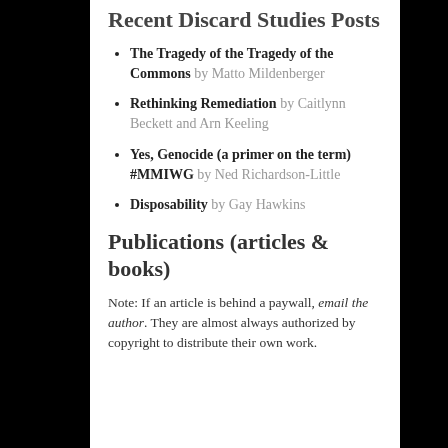Recent Discard Studies Posts
The Tragedy of the Tragedy of the Commons by Matto Mildenberger
Rethinking Remediation by Caitlynn Beckett and Arn Keeling
Yes, Genocide (a primer on the term) #MMIWG by Ned Richardson-Little
Disposability by Gay Hawkins
Publications (articles & books)
Note: If an article is behind a paywall, email the author. They are almost always authorized by copyright to distribute their own work.